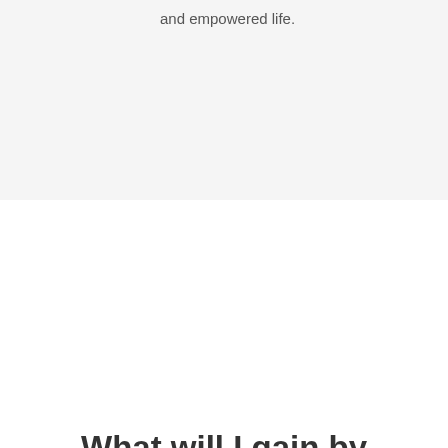and empowered life.
What will I gain by attending a session?
ACCELERATE the resolution of your life challenges, to bring bring calm and fulfilment to your life.